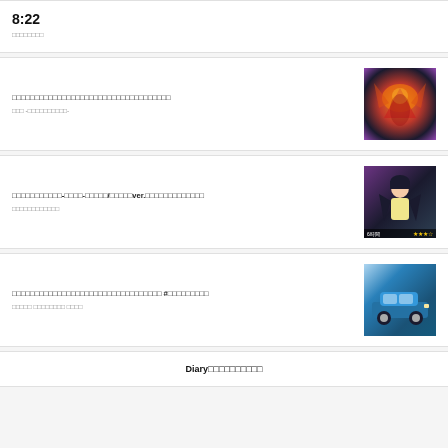8:22
□□□□□□□□
□□□□□□□□□□□□□□□□□□□□□□□□□□□□□□□□□□□
□□□ -□□□□□□□□□□-
□□□□□□□□□□□-□□□□-□□□□□/□□□□□ver.□□□□□□□□□□□□□
□□□□□□□□□□□□
□□□□□□□□□□□□□□□□□□□□□□□□□□□□□□□□□ #□□□□□□□□□
□□□□□ □□□□□□□□ □□□□
Diary□□□□□□□□□□